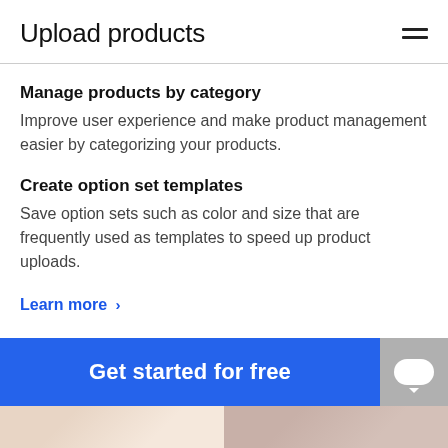Upload products
Manage products by category
Improve user experience and make product management easier by categorizing your products.
Create option set templates
Save option sets such as color and size that are frequently used as templates to speed up product uploads.
Learn more >
[Figure (screenshot): Blue 'Get started for free' CTA button with chat widget and product image strip at the bottom]